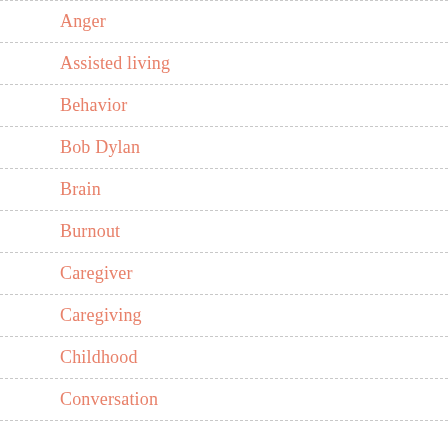Anger
Assisted living
Behavior
Bob Dylan
Brain
Burnout
Caregiver
Caregiving
Childhood
Conversation